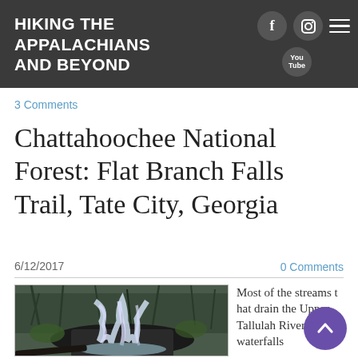HIKING THE APPALACHIANS AND BEYOND
3 Comments
Chattahoochee National Forest: Flat Branch Falls Trail, Tate City, Georgia
6/12/2017
0 Comments
[Figure (photo): Waterfall on Flat Branch Falls Trail in Chattahoochee National Forest, Tate City, Georgia — water cascading over rocks surrounded by bare winter trees]
Most of the streams that drain the Upper Tallulah River form waterfalls